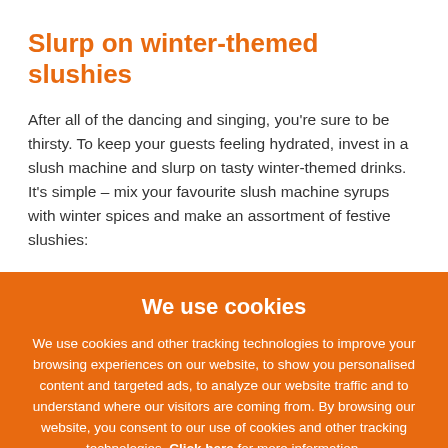Slurp on winter-themed slushies
After all of the dancing and singing, you're sure to be thirsty. To keep your guests feeling hydrated, invest in a slush machine and slurp on tasty winter-themed drinks. It's simple – mix your favourite slush machine syrups with winter spices and make an assortment of festive slushies:
We use cookies
We use cookies and other tracking technologies to improve your browsing experiences on our website, to show you personalised content and targeted ads, to analyze our website traffic and to understand where our visitors are coming from. By browsing our website, you consent to our use of cookies and other tracking technologies. Click here for more information.
Accept